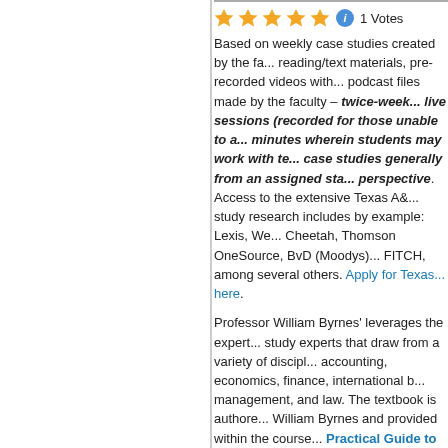★★★★★ ⓘ 1 Votes
Based on weekly case studies created by the fa... reading/text materials, pre-recorded videos with... podcast files made by the faculty – twice-weekly live sessions (recorded for those unable to a... minutes wherein students may work with te... case studies generally from an assigned sta... perspective. Access to the extensive Texas A&... study research includes by example: Lexis, We... Cheetah, Thomson OneSource, BvD (Moodys)... FITCH, among several others. Apply for Texas... here.
Professor William Byrnes' leverages the expert... study experts that draw from a variety of discipl... accounting, economics, finance, international b... management, and law. The textbook is authore... William Byrnes and provided within the course... Practical Guide to Transfer Pricing, 4th ed, 2... published by Matthew Bender via LexisNexis a... law library in hardcopy].
Transfer pricing is the valuation of cross-border... between units of a multinational enterprise. Thi... students to both theoretical and practical aspec... This course deep dives into the legal issues (re... jurisprudence); accounting systems and varian...